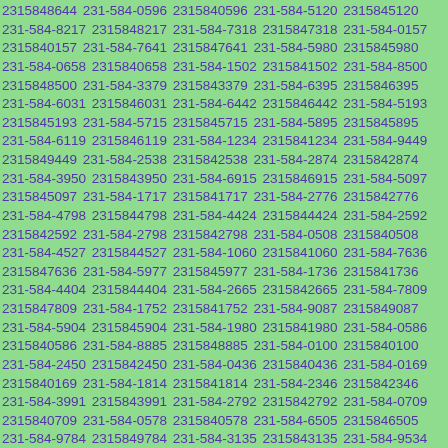2315848644 231-584-0596 2315840596 231-584-5120 2315845120 231-584-8217 2315848217 231-584-7318 2315847318 231-584-0157 2315840157 231-584-7641 2315847641 231-584-5980 2315845980 231-584-0658 2315840658 231-584-1502 2315841502 231-584-8500 2315848500 231-584-3379 2315843379 231-584-6395 2315846395 231-584-6031 2315846031 231-584-6442 2315846442 231-584-5193 2315845193 231-584-5715 2315845715 231-584-5895 2315845895 231-584-6119 2315846119 231-584-1234 2315841234 231-584-9449 2315849449 231-584-2538 2315842538 231-584-2874 2315842874 231-584-3950 2315843950 231-584-6915 2315846915 231-584-5097 2315845097 231-584-1717 2315841717 231-584-2776 2315842776 231-584-4798 2315844798 231-584-4424 2315844424 231-584-2592 2315842592 231-584-2798 2315842798 231-584-0508 2315840508 231-584-4527 2315844527 231-584-1060 2315841060 231-584-7636 2315847636 231-584-5977 2315845977 231-584-1736 2315841736 231-584-4404 2315844404 231-584-2665 2315842665 231-584-7809 2315847809 231-584-1752 2315841752 231-584-9087 2315849087 231-584-5904 2315845904 231-584-1980 2315841980 231-584-0586 2315840586 231-584-8885 2315848885 231-584-0100 2315840100 231-584-2450 2315842450 231-584-0436 2315840436 231-584-0169 2315840169 231-584-1814 2315841814 231-584-2346 2315842346 231-584-3991 2315843991 231-584-2792 2315842792 231-584-0709 2315840709 231-584-0578 2315840578 231-584-6505 2315846505 231-584-9784 2315849784 231-584-3135 2315843135 231-584-9534 2315849534 231-584-4990 2315844990 231-584-0156 2315840156